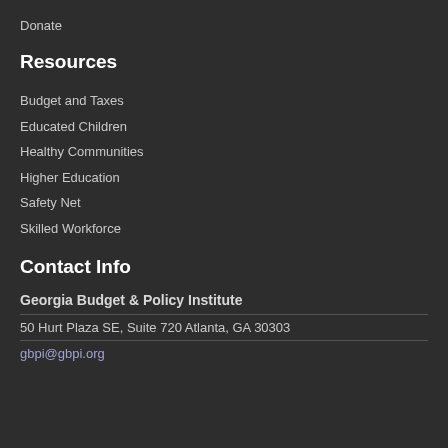Donate
Resources
Budget and Taxes
Educated Children
Healthy Communities
Higher Education
Safety Net
Skilled Workforce
Contact Info
Georgia Budget & Policy Institute
50 Hurt Plaza SE, Suite 720 Atlanta, GA 30303
gbpi@gbpi.org